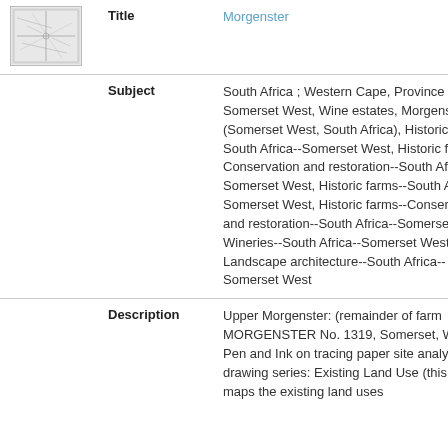[Figure (map): Small thumbnail map image showing a site plan/map of the Morgenster estate area]
|  | Field | Value |
| --- | --- | --- |
|  | Title | Morgenster |
|  | Subject | South Africa ; Western Cape, Province of the ; Somerset West, Wine estates, Morgenster (Somerset West, South Africa), Historic farms--South Africa--Somerset West, Historic farms--Conservation and restoration--South Africa--Somerset West, Historic farms--South Africa--Somerset West, Historic farms--Conservation and restoration--South Africa--Somerset West, Wineries--South Africa--Somerset West, Landscape architecture--South Africa--Somerset West |
|  | Description | Upper Morgenster: (remainder of farm MORGENSTER No. 1319, Somerset, West). Pen and Ink on tracing paper site analysis drawing series: Existing Land Use (this drawing maps the existing land uses |